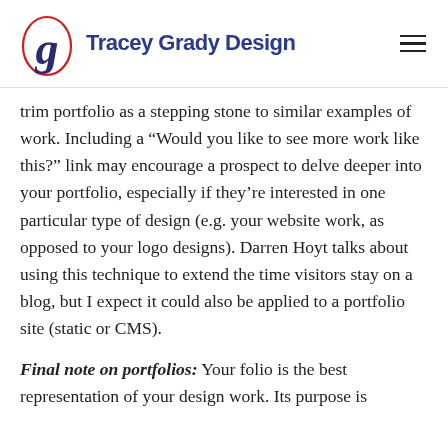Tracey Grady Design
trim portfolio as a stepping stone to similar examples of work. Including a “Would you like to see more work like this?” link may encourage a prospect to delve deeper into your portfolio, especially if they’re interested in one particular type of design (e.g. your website work, as opposed to your logo designs). Darren Hoyt talks about using this technique to extend the time visitors stay on a blog, but I expect it could also be applied to a portfolio site (static or CMS).
Final note on portfolios: Your folio is the best representation of your design work. Its purpose is